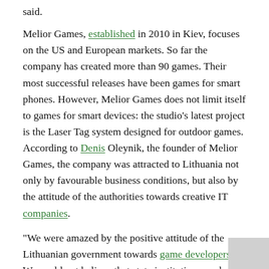said.
Melior Games, established in 2010 in Kiev, focuses on the US and European markets. So far the company has created more than 90 games. Their most successful releases have been games for smart phones. However, Melior Games does not limit itself to games for smart devices: the studio's latest project is the Laser Tag system designed for outdoor games. According to Denis Oleynik, the founder of Melior Games, the company was attracted to Lithuania not only by favourable business conditions, but also by the attitude of the authorities towards creative IT companies.
“We were amazed by the positive attitude of the Lithuanian government towards game developers. We could not believe that state institutions, and Invest Lithuania in particular, were so dedicated to game developers and their needs. Much to our amazement, we